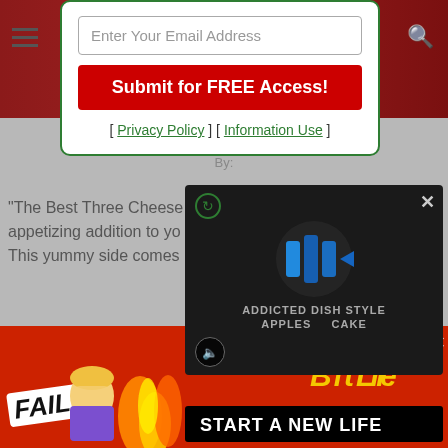[Figure (screenshot): Top section showing dark red/maroon background image strip with hamburger menu icon on left and search icon on right]
[Figure (screenshot): Modal popup with email input field 'Enter Your Email Address', red 'Submit for FREE Access!' button, and privacy policy links in green]
This
By:
"The Best Three Cheese ... appetizing addition to yo... This yummy side comes...
[Figure (screenshot): Video overlay player showing dark background with 'ADDICTED DISH STYLE APPLES CAKE' text and blue play button bars, with refresh icon top-left, close X top-right, and mute button bottom-left]
[Figure (screenshot): Bottom advertisement banner for BitLife game showing FAIL text, cartoon character, flames, BitLife logo in yellow, and 'START A NEW LIFE' text on black bar]